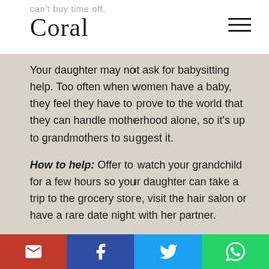can't buy time off. Coral
Your daughter may not ask for babysitting help. Too often when women have a baby, they feel they have to prove to the world that they can handle motherhood alone, so it's up to grandmothers to suggest it.
How to help: Offer to watch your grandchild for a few hours so your daughter can take a trip to the grocery store, visit the hair salon or have a rare date night with her partner.
This "me" time helps her feel good about herself, which in turn strengthens her relationship with her partner and baby.
When baby...grandchild f...
M | f | Twitter | WhatsApp social share buttons